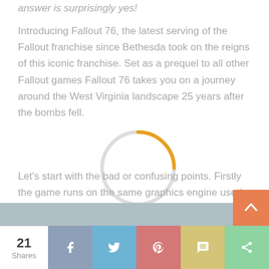answer is surprisingly yes!
Introducing Fallout 76, the latest serving of the Fallout franchise since Bethesda took on the reigns of this iconic franchise. Set as a prequel to all other Fallout games Fallout 76 takes you on a journey around the West Virginia landscape 25 years after the bombs fell.
Let's start with the bad or confusing points. Firstly the game runs on the same graphics engine used since fallout 3 so as you may expect from that knowledge the graphics do look dated but the game feels like a final hurrah and fond farewell for the engine as they've squeezed every last bit of graphical ability out of the engine although I could be wrong.
[Figure (screenshot): Partial screenshot of a game or article image at the bottom of the article content]
21 Shares | Share buttons: Facebook, Twitter, Pinterest, SMS, More